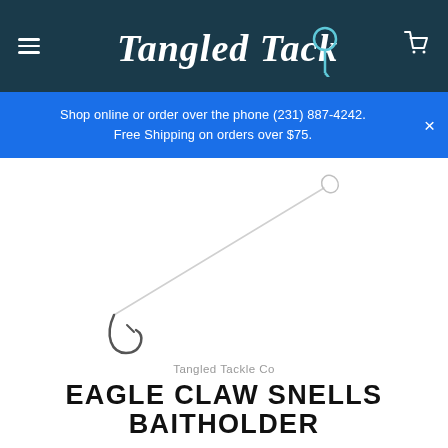Tangled Tackle Co. [logo with fish hook]
Shop online or order over the phone (231) 887-4242. Free Shipping on orders over $75.
[Figure (photo): A snelled fishing hook with a long white leader line extending diagonally from bottom-left (hook end) to upper-right (loop/eye end), on a white background.]
Tangled Tackle Co
EAGLE CLAW SNELLS BAITHOLDER